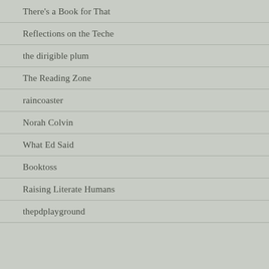There's a Book for That
Reflections on the Teche
the dirigible plum
The Reading Zone
raincoaster
Norah Colvin
What Ed Said
Booktoss
Raising Literate Humans
thepdplayground